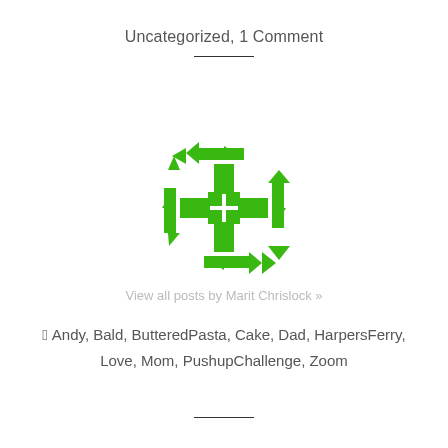Uncategorized, 1 Comment
[Figure (logo): Green interlocking arrows/blocks logo mark]
View all posts by Marit Chrislock »
Andy, Bald, ButteredPasta, Cake, Dad, HarpersFerry, Love, Mom, PushupChallenge, Zoom